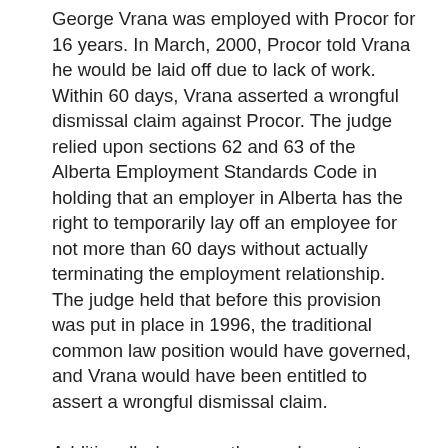George Vrana was employed with Procor for 16 years. In March, 2000, Procor told Vrana he would be laid off due to lack of work. Within 60 days, Vrana asserted a wrongful dismissal claim against Procor. The judge relied upon sections 62 and 63 of the Alberta Employment Standards Code in holding that an employer in Alberta has the right to temporarily lay off an employee for not more than 60 days without actually terminating the employment relationship. The judge held that before this provision was put in place in 1996, the traditional common law position would have governed, and Vrana would have been entitled to assert a wrongful dismissal claim.
Additionally, because the employment